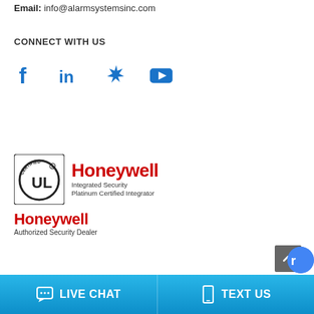Email: info@alarmsystemsinc.com
CONNECT WITH US
[Figure (illustration): Social media icons: Facebook, LinkedIn, Yelp, YouTube - in dark blue color]
[Figure (logo): UL Certified badge logo alongside Honeywell Integrated Security Platinum Certified Integrator logo, and Honeywell Authorized Security Dealer logo below]
LIVE CHAT
TEXT US